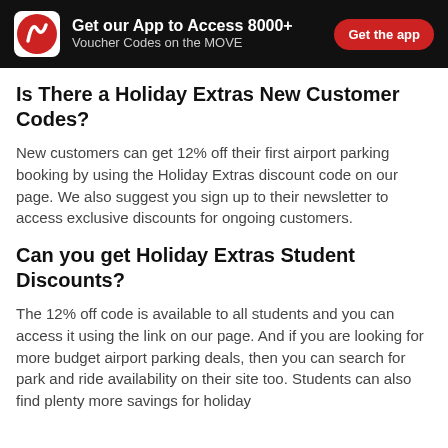Get our App to Access 8000+ Voucher Codes on the MOVE | Get the app
Is There a Holiday Extras New Customer Codes?
New customers can get 12% off their first airport parking booking by using the Holiday Extras discount code on our page. We also suggest you sign up to their newsletter to access exclusive discounts for ongoing customers.
Can you get Holiday Extras Student Discounts?
The 12% off code is available to all students and you can access it using the link on our page. And if you are looking for more budget airport parking deals, then you can search for park and ride availability on their site too. Students can also find plenty more savings for holiday